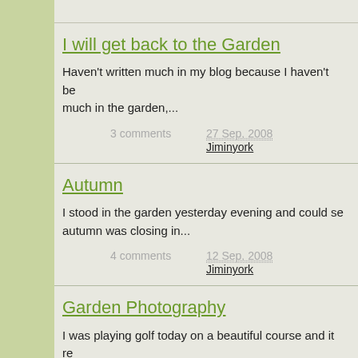I will get back to the Garden
Haven't written much in my blog because I haven't be... much in the garden,...
3 comments
27 Sep, 2008
Jiminyork
Autumn
I stood in the garden yesterday evening and could se... autumn was closing in...
4 comments
12 Sep, 2008
Jiminyork
Garden Photography
I was playing golf today on a beautiful course and it re...